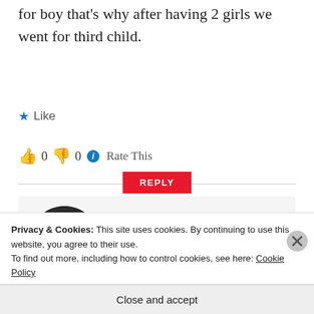for boy that's why after having 2 girls we went for third child.
★ Like
👍 0 👎 0 ℹ Rate This
REPLY
[Figure (photo): Circular avatar photo of Lauren Mokasdar, a woman in a green top with dark hair]
Lauren Mokasdar
Privacy & Cookies: This site uses cookies. By continuing to use this website, you agree to their use.
To find out more, including how to control cookies, see here: Cookie Policy
Close and accept